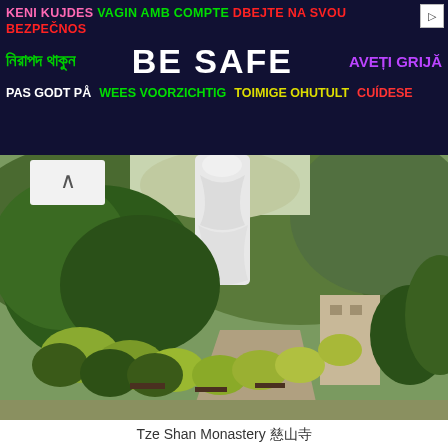[Figure (other): Multilingual safety advertisement banner with text in multiple languages including Albanian, Catalan, Czech, Bengali, English (BE SAFE), Romanian, Danish, Dutch, Estonian, and Spanish]
[Figure (photo): Tze Shan Monastery with a large white Guanyin statue visible behind green trees and manicured shrubs along a pathway, with forested hills in the background]
Tze Shan Monastery 慈山寺
Privacy & Cookies: This site uses cookies. By continuing to use this website, you agree to their use.
To find out more, including how to control cookies, see here: Cookie Policy
[Close and accept button]
should visit this place. Luckily I managed to snap a visit !!